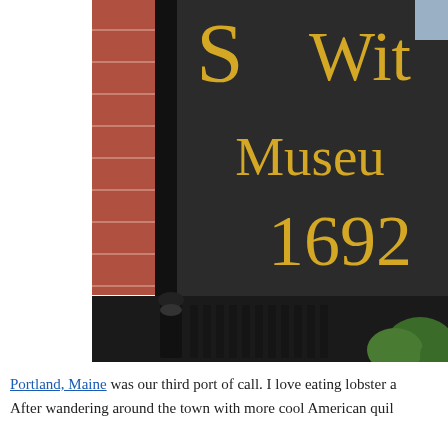[Figure (photo): Close-up photograph of a dark sign reading 'S Wit... Museum 1692' in gold letters, with brick building visible on left, black iron fence railing below, and green shrubs in bottom right corner. This appears to be the Salem Witch Museum sign.]
Portland, Maine was our third port of call. I love eating lobster a... After wandering around the town with more cool American quil...